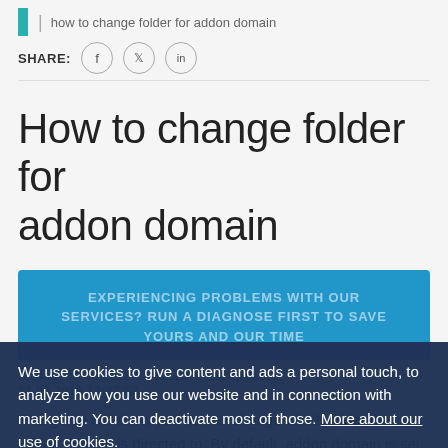how to change folder for addon domain
SHARE:
How to change folder for addon domain
[Figure (infographic): Blue banner: EXPERIENCING PROBLEMS WITH OUR SERVICES? RUN A DIAGNOSE FIRST TO SAVE YOURS AND OUR TIME]
Added: 19.08.2018 12:52:15   Last updated: 11.05.2019 13:37:52
This guide will show you how to change which folder the addon domain is directed to. By default, addon domain is set up from the beginning after you have placed the
We use cookies to give content and ads a personal touch, to analyze how you use our website and in connection with marketing. You can deactivate most of those. More about our use of cookies.